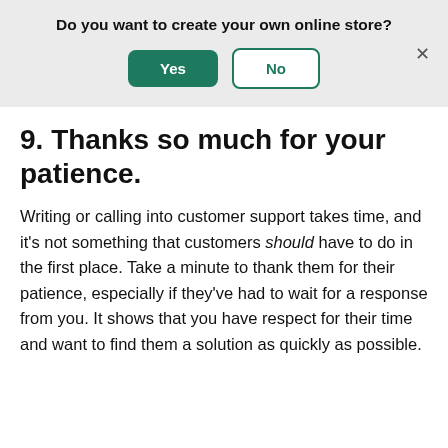Do you want to create your own online store?
[Figure (screenshot): Dialog banner with question 'Do you want to create your own online store?' and two buttons: 'Yes' (green filled) and 'No' (outlined), with an X close button]
9. Thanks so much for your patience.
Writing or calling into customer support takes time, and it's not something that customers should have to do in the first place. Take a minute to thank them for their patience, especially if they've had to wait for a response from you. It shows that you have respect for their time and want to find them a solution as quickly as possible.